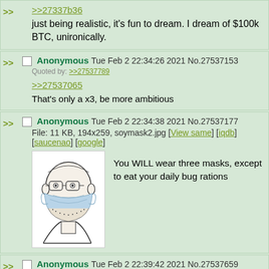>>27337b36 just being realistic, it's fun to dream. I dream of $100k BTC, unironically.
Anonymous Tue Feb 2 22:34:26 2021 No.27537153 Quoted by: >>27537789 >>27537065 That's only a x3, be more ambitious
Anonymous Tue Feb 2 22:34:38 2021 No.27537177 File: 11 KB, 194x259, soymask2.jpg [View same] [iqdb] [saucenao] [google] You WILL wear three masks, except to eat your daily bug rations
Anonymous Tue Feb 2 22:39:42 2021 No.27537659 >>OP why would you not have any form of currency? You'll just have a digital currency, you can't store